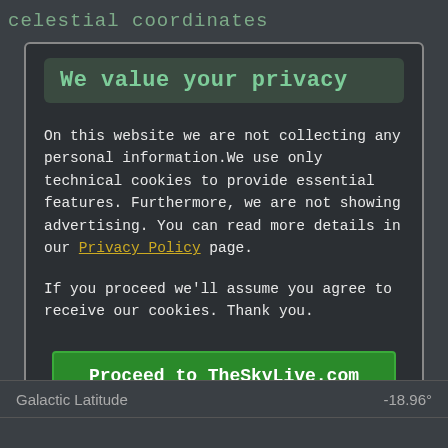celestial coordinates
We value your privacy
On this website we are not collecting any personal information.We use only technical cookies to provide essential features. Furthermore, we are not showing advertising. You can read more details in our Privacy Policy page.
If you proceed we'll assume you agree to receive our cookies. Thank you.
Proceed to TheSkyLive.com
Galactic Latitude    -18.96°